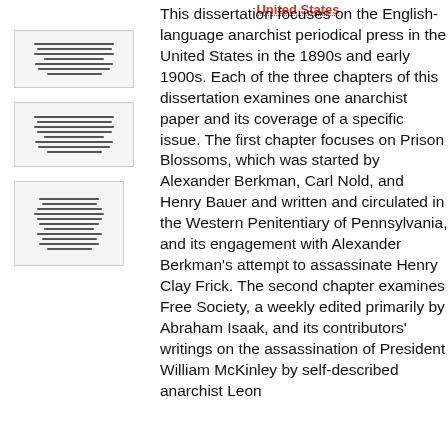[Figure (illustration): Thumbnail images of three document pages shown in left column]
United States
This dissertation focuses on the English-language anarchist periodical press in the United States in the 1890s and early 1900s. Each of the three chapters of this dissertation examines one anarchist paper and its coverage of a specific issue. The first chapter focuses on Prison Blossoms, which was started by Alexander Berkman, Carl Nold, and Henry Bauer and written and circulated in the Western Penitentiary of Pennsylvania, and its engagement with Alexander Berkman's attempt to assassinate Henry Clay Frick. The second chapter examines Free Society, a weekly edited primarily by Abraham Isaak, and its contributors' writings on the assassination of President William McKinley by self-described anarchist Leon